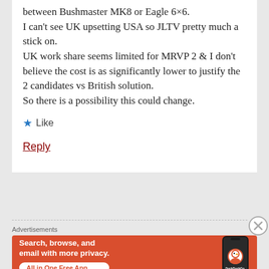between Bushmaster MK8 or Eagle 6×6. I can't see UK upsetting USA so JLTV pretty much a stick on. UK work share seems limited for MRVP 2 & I don't believe the cost is as significantly lower to justify the 2 candidates vs British solution. So there is a possibility this could change.
★ Like
Reply
[Figure (infographic): DuckDuckGo advertisement banner: orange background with white bold text 'Search, browse, and email with more privacy.' and white pill button 'All in One Free App', with a phone mockup on the right showing the DuckDuckGo logo and wordmark.]